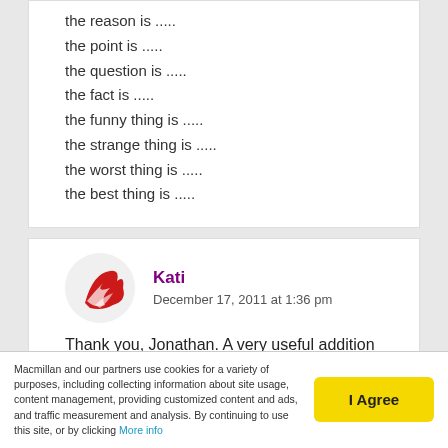the reason is .....
the point is .....
the question is .....
the fact is .....
the funny thing is .....
the strange thing is .....
the worst thing is .....
the best thing is .....
Kati
December 17, 2011 at 1:36 pm
Thank you, Jonathan. A very useful addition and phrases & examples too.
Macmillan and our partners use cookies for a variety of purposes, including collecting information about site usage, content management, providing customized content and ads, and traffic measurement and analysis. By continuing to use this site, or by clicking More info